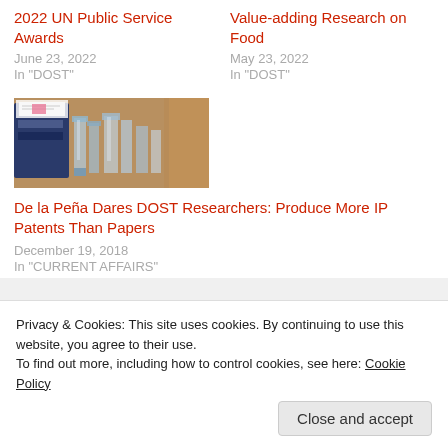2022 UN Public Service Awards
June 23, 2022
In "DOST"
Value-adding Research on Food
May 23, 2022
In "DOST"
[Figure (photo): Photo of awards/trophies on a table with documents]
De la Peña Dares DOST Researchers: Produce More IP Patents Than Papers
December 19, 2018
In "CURRENT AFFAIRS"
Privacy & Cookies: This site uses cookies. By continuing to use this website, you agree to their use.
To find out more, including how to control cookies, see here: Cookie Policy
Close and accept